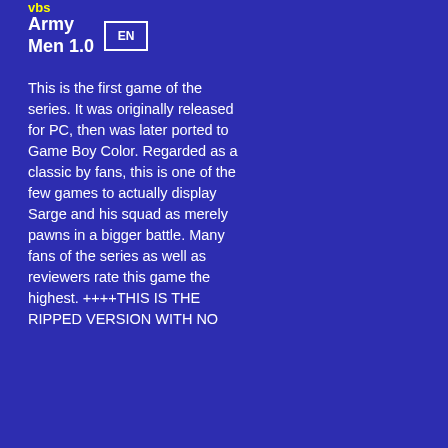Army Men 1.0 EN
This is the first game of the series. It was originally released for PC, then was later ported to Game Boy Color. Regarded as a classic by fans, this is one of the few games to actually display Sarge and his squad as merely pawns in a bigger battle. Many fans of the series as well as reviewers rate this game the highest. ++++THIS IS THE RIPPED VERSION WITH NO...